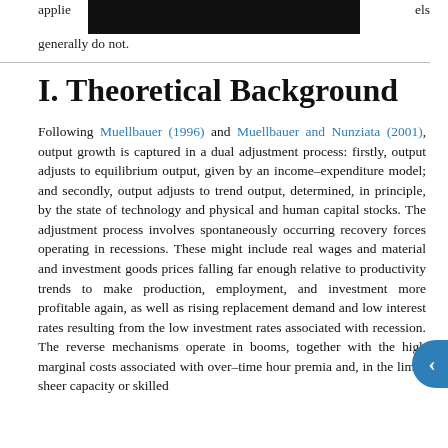applied … experience. … els generally do not.
I. Theoretical Background
Following Muellbauer (1996) and Muellbauer and Nunziata (2001), output growth is captured in a dual adjustment process: firstly, output adjusts to equilibrium output, given by an income–expenditure model; and secondly, output adjusts to trend output, determined, in principle, by the state of technology and physical and human capital stocks. The adjustment process involves spontaneously occurring recovery forces operating in recessions. These might include real wages and material and investment goods prices falling far enough relative to productivity trends to make production, employment, and investment more profitable again, as well as rising replacement demand and low interest rates resulting from the low investment rates associated with recession. The reverse mechanisms operate in booms, together with the high marginal costs associated with over–time hour premia and, in the limit, sheer capacity or skilled